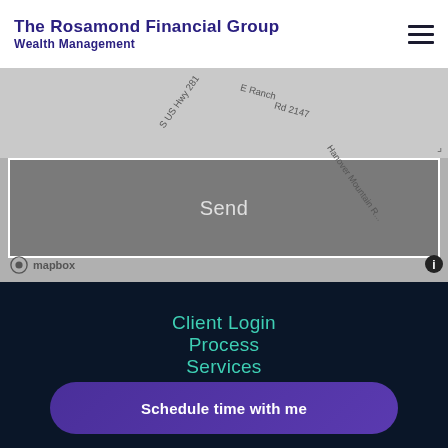The Rosamond Financial Group Wealth Management
[Figure (screenshot): Mapbox map background showing road labels: S US Hwy 281, E Ranch Rd 2147, Hanover Mountain Rd. Gray map tiles visible.]
Send
Client Login
Process
Services
Who
Contact
Schedule time with me